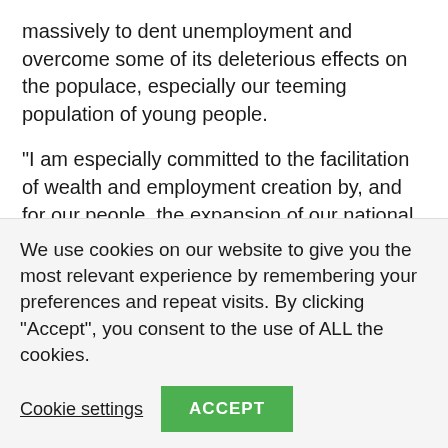massively to dent unemployment and overcome some of its deleterious effects on the populace, especially our teeming population of young people.
“I am especially committed to the facilitation of wealth and employment creation by, and for our people, the expansion of our national social security and skills acquisition policies to enhance human development, and the wholesale revamp of our national educational system to ensure it is fit for purpose, and the intensive fostering of measures aimed at expanding inclusivity for
We use cookies on our website to give you the most relevant experience by remembering your preferences and repeat visits. By clicking “Accept”, you consent to the use of ALL the cookies.
Cookie settings | ACCEPT